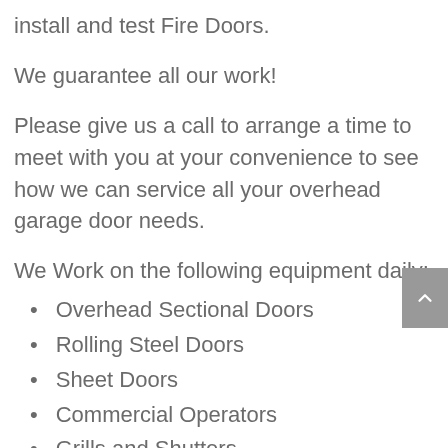install and test Fire Doors.
We guarantee all our work!
Please give us a call to arrange a time to meet with you at your convenience to see how we can service all your overhead garage door needs.
We Work on the following equipment daily:
Overhead Sectional Doors
Rolling Steel Doors
Sheet Doors
Commercial Operators
Grills and Shutters
Commercial Gates
Fire Doors